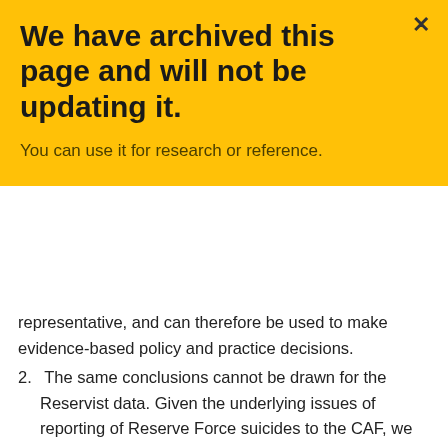We have archived this page and will not be updating it.
You can use it for research or reference.
representative, and can therefore be used to make evidence-based policy and practice decisions.
2. The same conclusions cannot be drawn for the Reservist data. Given the underlying issues of reporting of Reserve Force suicides to the CAF, we